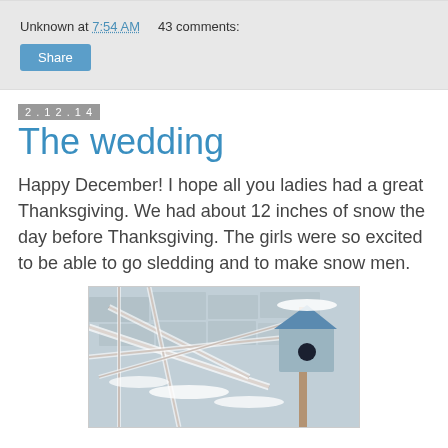Unknown at 7:54 AM    43 comments:
Share
2.12.14
The wedding
Happy December!  I hope all you ladies had a great Thanksgiving.  We had about 12 inches of snow the day before Thanksgiving.  The girls were so excited to be able to go sledding and to make snow men.
[Figure (photo): Winter outdoor scene with snow-covered tree branches and a birdhouse]